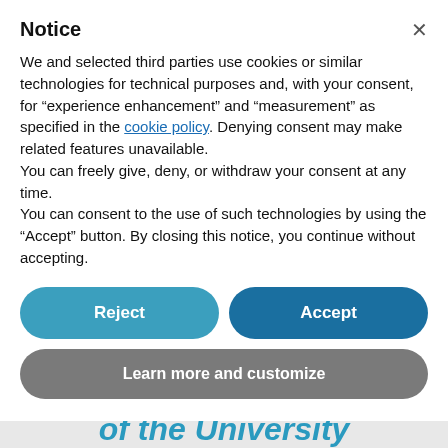Notice
We and selected third parties use cookies or similar technologies for technical purposes and, with your consent, for “experience enhancement” and “measurement” as specified in the cookie policy. Denying consent may make related features unavailable.
You can freely give, deny, or withdraw your consent at any time.
You can consent to the use of such technologies by using the “Accept” button. By closing this notice, you continue without accepting.
Reject
Accept
Learn more and customize
Humanistic Pole of the University